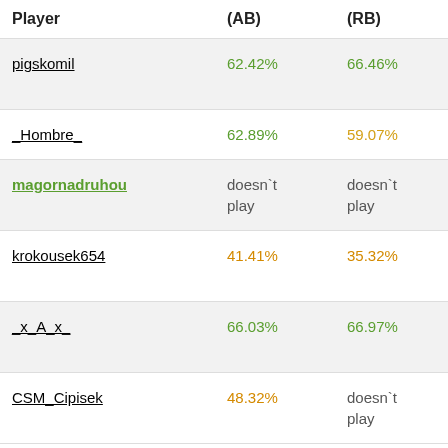| Player | (AB) | (RB) | (S |
| --- | --- | --- | --- |
| pigskomil | 62.42% | 66.46% | do
pl |
| _Hombre_ | 62.89% | 59.07% | 2. |
| magornadruhou | doesn`t play | doesn`t play | d
pl |
| krokousek654 | 41.41% | 35.32% | d
pl |
| _x_A_x_ | 66.03% | 66.97% | d
pl |
| CSM_Cipisek | 48.32% | doesn`t play | d
pl |